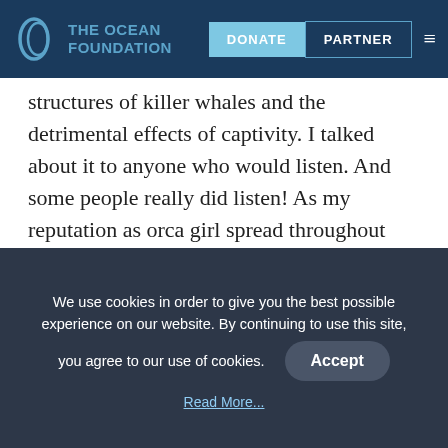The Ocean Foundation — DONATE | PARTNER
structures of killer whales and the detrimental effects of captivity. I talked about it to anyone who would listen. And some people really did listen! As my reputation as orca girl spread throughout campus, a friend of mine felt it necessary to link me to the Georgetown Sustainable Oceans Summit via email saying, “Hey, I don’t know if your interest in orcas extends past captivity, but I learned about this
We use cookies in order to give you the best possible experience on our website. By continuing to use this site, you agree to our use of cookies.
Accept
Read More...